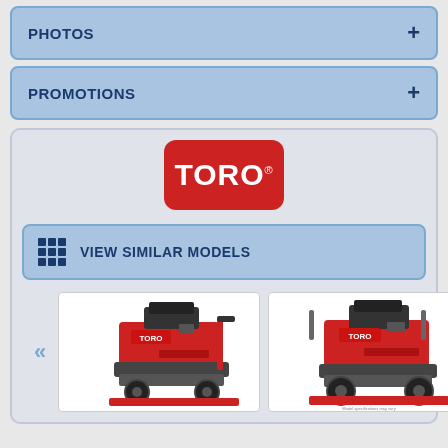PHOTOS +
PROMOTIONS +
[Figure (logo): TORO brand logo: white TORO. text on red rounded rectangle background]
VIEW SIMILAR MODELS
[Figure (photo): Two red Toro commercial stand-on mowers shown side by side in a carousel with left and right navigation arrows]